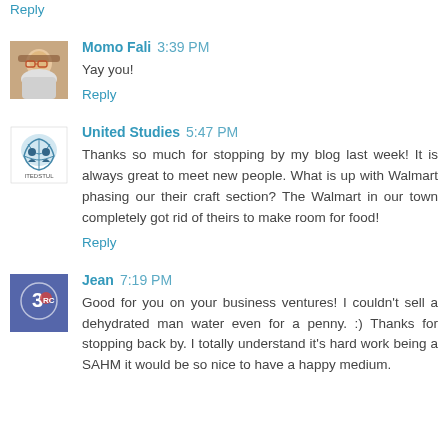Reply
Momo Fali  3:39 PM
Yay you!
Reply
United Studies  5:47 PM
Thanks so much for stopping by my blog last week! It is always great to meet new people. What is up with Walmart phasing our their craft section? The Walmart in our town completely got rid of theirs to make room for food!
Reply
Jean  7:19 PM
Good for you on your business ventures! I couldn't sell a dehydrated man water even for a penny. :) Thanks for stopping back by. I totally understand it's hard work being a SAHM it would be so nice to have a happy medium.